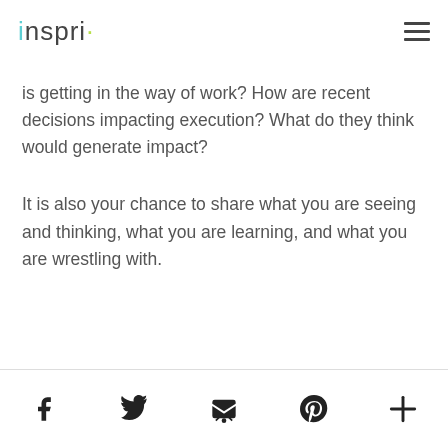inspri
is getting in the way of work? How are recent decisions impacting execution? What do they think would generate impact?
It is also your chance to share what you are seeing and thinking, what you are learning, and what you are wrestling with.
Social share icons: Facebook, Twitter, Email, Pinterest, More